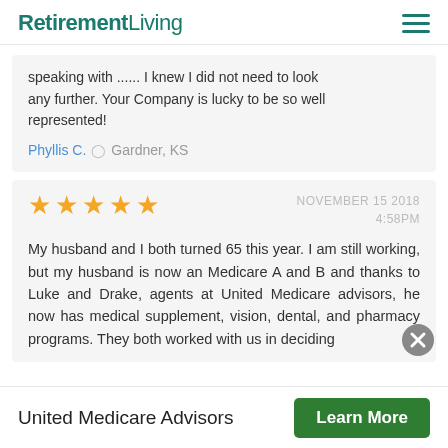RetirementLiving
speaking with ...... I knew I did not need to look any further. Your Company is lucky to be so well represented!
Phyllis C. Gardner, KS
★★★★★ NOVEMBER 15 2018 4:58PM
My husband and I both turned 65 this year. I am still working, but my husband is now an Medicare A and B and thanks to Luke and Drake, agents at United Medicare advisors, he now has medical supplement, vision, dental, and pharmacy programs. They both worked with us in deciding
United Medicare Advisors
Learn More